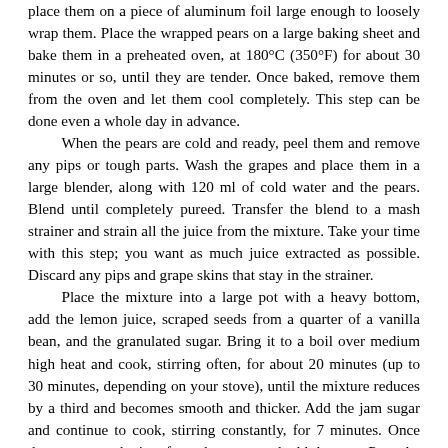place them on a piece of aluminum foil large enough to loosely wrap them. Place the wrapped pears on a large baking sheet and bake them in a preheated oven, at 180°C (350°F) for about 30 minutes or so, until they are tender. Once baked, remove them from the oven and let them cool completely. This step can be done even a whole day in advance.

When the pears are cold and ready, peel them and remove any pips or tough parts. Wash the grapes and place them in a large blender, along with 120 ml of cold water and the pears. Blend until completely pureed. Transfer the blend to a mash strainer and strain all the juice from the mixture. Take your time with this step; you want as much juice extracted as possible. Discard any pips and grape skins that stay in the strainer.

Place the mixture into a large pot with a heavy bottom, add the lemon juice, scraped seeds from a quarter of a vanilla bean, and the granulated sugar. Bring it to a boil over medium high heat and cook, stirring often, for about 20 minutes (up to 30 minutes, depending on your stove), until the mixture reduces by a third and becomes smooth and thicker. Add the jam sugar and continue to cook, stirring constantly, for 7 minutes. Once done, remove the jam from the stove and add the rum. Pour the still hot jam into sterilized jars and store in a cold, dark place. Yields 750 grams.